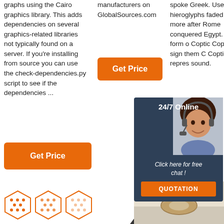graphs using the Cairo graphics library. This adds dependencies on several graphics-related libraries not typically found on a server. If you're installing from source you can use the check-dependencies.py script to see if the dependencies ...
manufacturers on GlobalSources.com
[Figure (illustration): Orange 'Get Price' button (column 2, top area)]
spoke Greek. Use of hieroglyphs faded even more after Rome conquered Egypt. Another form of Coptic... Coptic... 30 signs... them C... Coptic... represents... sound...
[Figure (illustration): 24/7 Online chat widget with agent photo, 'Click here for free chat!' text, and orange QUOTATION button]
[Figure (illustration): Orange 'Get Price' button (column 1, lower area)]
[Figure (illustration): Orange 'Get Price' button (column 3, lower area)]
[Figure (illustration): Orange dotted triangle TOP button]
[Figure (illustration): Three orange hexagon icons at bottom left]
[Figure (photo): Product photo at bottom right showing a circular/donut shaped item on light background]
[Figure (illustration): Dark wedge/arrow shape at bottom center]